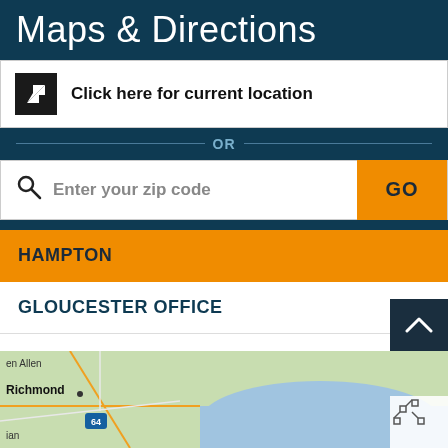Maps & Directions
Click here for current location
OR
Enter your zip code
HAMPTON
GLOUCESTER OFFICE
CHESAPEAKE/SOUTHSIDE
NEWPORT NEWS
[Figure (map): Street map showing Richmond and surrounding area in Virginia]